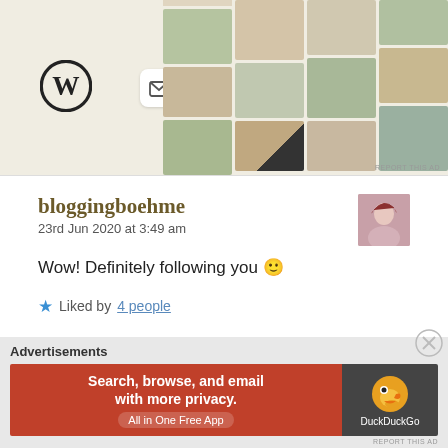[Figure (screenshot): Top portion of WordPress-related advertisement showing WordPress logo, inbox icon, and food photography thumbnails with 'REPORT THIS AD' link.]
bloggingboehme
23rd Jun 2020 at 3:49 am
[Figure (photo): Small avatar photo of a person with red hair touching their face.]
Wow! Definitely following you 🙂
★ Liked by 4 people
Reply
Advertisements
[Figure (screenshot): DuckDuckGo advertisement: orange left panel says 'Search, browse, and email with more privacy. All in One Free App', dark right panel shows DuckDuckGo duck logo and brand name.]